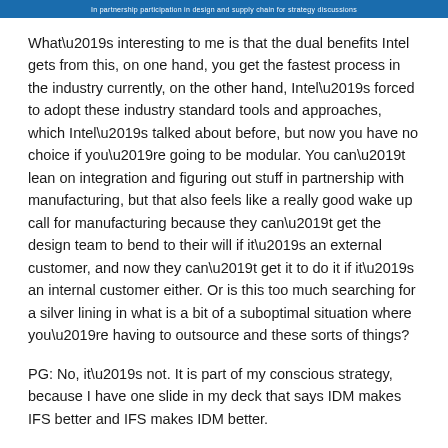What’s interesting to me is that the dual benefits Intel gets from this, on one hand, you get the fastest process in the industry currently, on the other hand, Intel’s forced to adopt these industry standard tools and approaches, which Intel’s talked about before, but now you have no choice if you’re going to be modular. You can’t lean on integration and figuring out stuff in partnership with manufacturing, but that also feels like a really good wake up call for manufacturing because they can’t get the design team to bend to their will if it’s an external customer, and now they can’t get it to do it if it’s an internal customer either. Or is this too much searching for a silver lining in what is a bit of a suboptimal situation where you’re having to outsource and these sorts of things?
PG: No, it’s not. It is part of my conscious strategy, because I have one slide in my deck that says IDM makes IFS better and IFS makes IDM better.